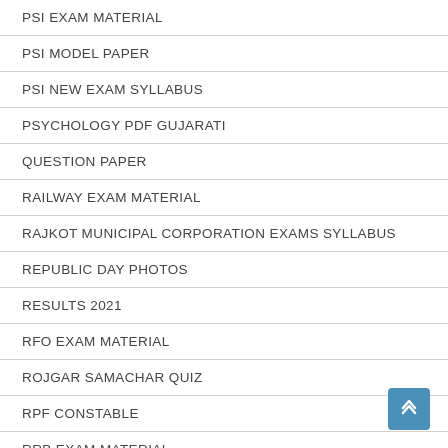PSI EXAM MATERIAL
PSI MODEL PAPER
PSI NEW EXAM SYLLABUS
PSYCHOLOGY PDF GUJARATI
QUESTION PAPER
RAILWAY EXAM MATERIAL
RAJKOT MUNICIPAL CORPORATION EXAMS SYLLABUS
REPUBLIC DAY PHOTOS
RESULTS 2021
RFO EXAM MATERIAL
ROJGAR SAMACHAR QUIZ
RPF CONSTABLE
RRB EXAM MATERIAL